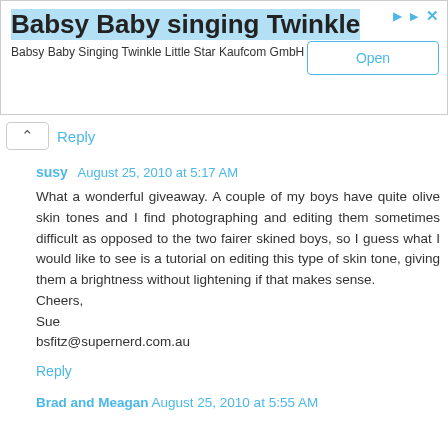[Figure (screenshot): Ad banner for 'Babsy Baby singing Twinkle' with Open button and close/arrow icons]
Reply ↑
susy August 25, 2010 at 5:17 AM
What a wonderful giveaway. A couple of my boys have quite olive skin tones and I find photographing and editing them sometimes difficult as opposed to the two fairer skined boys, so I guess what I would like to see is a tutorial on editing this type of skin tone, giving them a brightness without lightening if that makes sense.
Cheers,
Sue
bsfitz@supernerd.com.au
Reply
Brad and Meagan August 25, 2010 at 5:55 AM